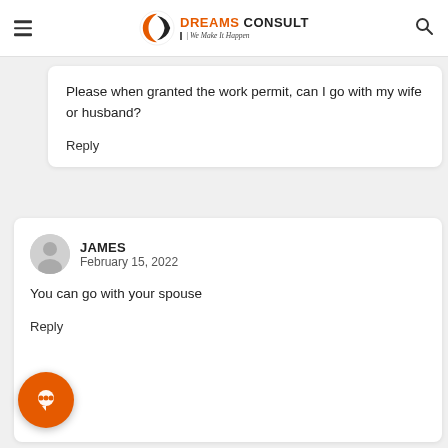[Figure (logo): Dreams Consult logo with tagline 'We Make It Happen']
Please when granted the work permit, can I go with my wife or husband?
Reply
JAMES
February 15, 2022
You can go with your spouse
Reply